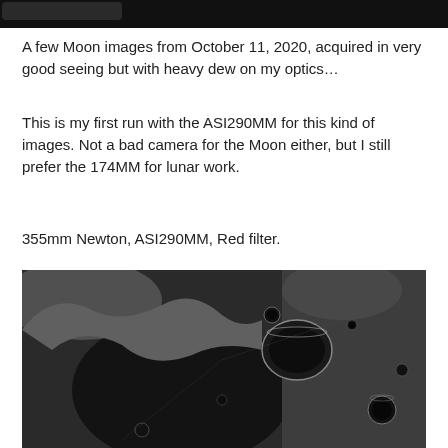[Figure (photo): Partial top strip of a Moon image, dark/black background]
A few Moon images from October 11, 2020, acquired in very good seeing but with heavy dew on my optics…
This is my first run with the ASI290MM for this kind of images. Not a bad camera for the Moon either, but I still prefer the 174MM for lunar work.
355mm Newton, ASI290MM, Red filter.
[Figure (photo): Close-up black and white lunar surface photograph showing craters and rugged terrain taken with 355mm Newton telescope, ASI290MM camera, Red filter]